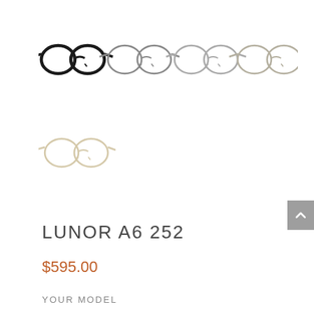[Figure (photo): Four eyeglasses frames in different colors (black, dark gray, light gray, beige/gray) shown in a row from front view]
[Figure (photo): One eyeglasses frame in cream/ivory color shown from front view]
LUNOR A6 252
$595.00
YOUR MODEL